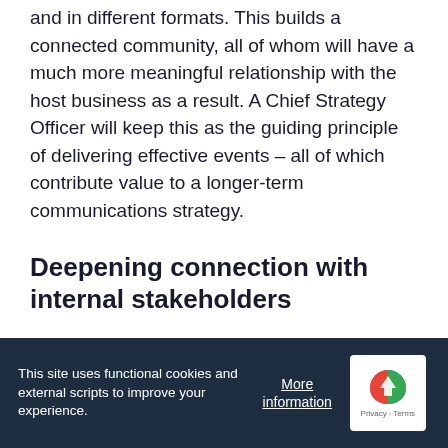and in different formats. This builds a connected community, all of whom will have a much more meaningful relationship with the host business as a result. A Chief Strategy Officer will keep this as the guiding principle of delivering effective events – all of which contribute value to a longer-term communications strategy.
Deepening connection with internal stakeholders
Another aspect of the role of Chief
This site uses functional cookies and external scripts to improve your experience.
More information